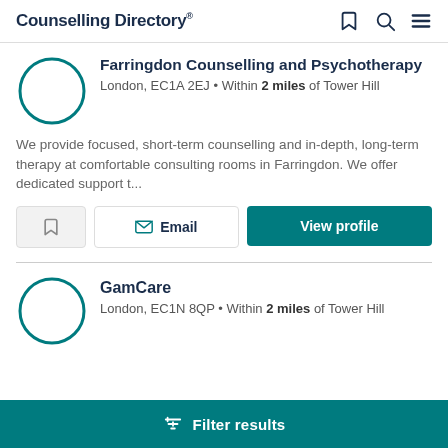Counselling Directory
Farringdon Counselling and Psychotherapy
London, EC1A 2EJ • Within 2 miles of Tower Hill
We provide focused, short-term counselling and in-depth, long-term therapy at comfortable consulting rooms in Farringdon. We offer dedicated support t...
GamCare
London, EC1N 8QP • Within 2 miles of Tower Hill
Filter results